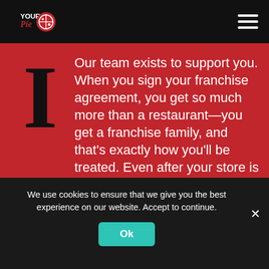Your Pie logo and navigation
Our team exists to support you. When you sign your franchise agreement, you get so much more than a restaurant—you get a franchise family, and that's exactly how you'll be treated. Even after your store is open, we continue to provide marketing resources, operational guidance and more to help you achieve success. Plus, each store has its own Field Support Manager who serves as your dedicated, day-to-day problem solver. Learn more.
We use cookies to ensure that we give you the best experience on our website. Accept to continue.